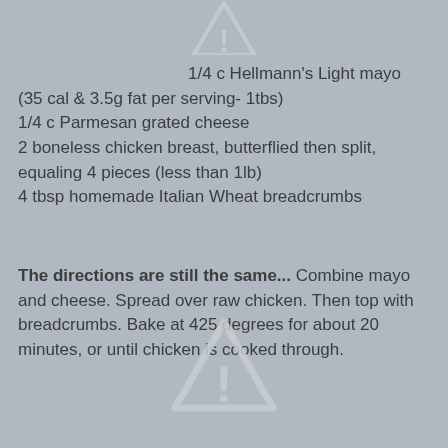[Figure (illustration): Warning triangle icon (caution/alert symbol) partially visible at top center]
1/4 c Hellmann's Light mayo (35 cal & 3.5g fat per serving- 1tbs)
1/4 c Parmesan grated cheese
2 boneless chicken breast, butterflied then split, equaling 4 pieces (less than 1lb)
4 tbsp homemade Italian Wheat breadcrumbs
The directions are still the same... Combine mayo and cheese. Spread over raw chicken. Then top with breadcrumbs. Bake at 425 degrees for about 20 minutes, or until chicken is cooked through.
[Figure (illustration): Warning triangle icon (caution/alert symbol) at bottom center]